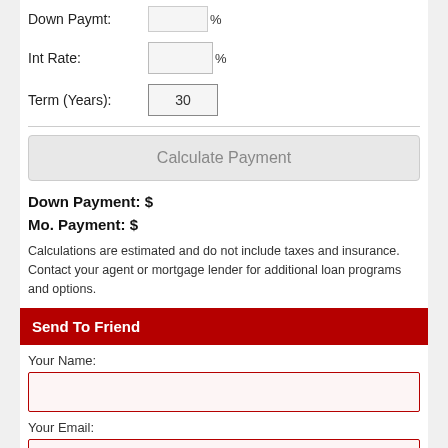Down Paymt:
Int Rate:
Term (Years): 30
Calculate Payment
Down Payment: $
Mo. Payment: $
Calculations are estimated and do not include taxes and insurance. Contact your agent or mortgage lender for additional loan programs and options.
Send To Friend
Your Name:
Your Email:
Friend's Name: